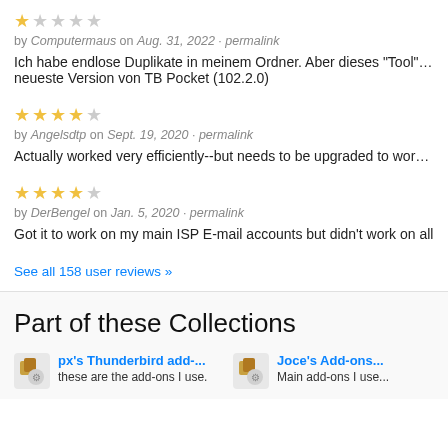★☆☆☆☆ by Computermaus on Aug. 31, 2022 · permalink
Ich habe endlose Duplikate in meinem Ordner. Aber dieses "Tool" be... neueste Version von TB Pocket (102.2.0)
★★★★☆ by Angelsdtp on Sept. 19, 2020 · permalink
Actually worked very efficiently--but needs to be upgraded to work w...
★★★★☆ by DerBengel on Jan. 5, 2020 · permalink
Got it to work on my main ISP E-mail accounts but didn't work on all...
See all 158 user reviews »
Part of these Collections
px's Thunderbird add-...
these are the add-ons I use.
Joce's Add-ons...
Main add-ons I use...